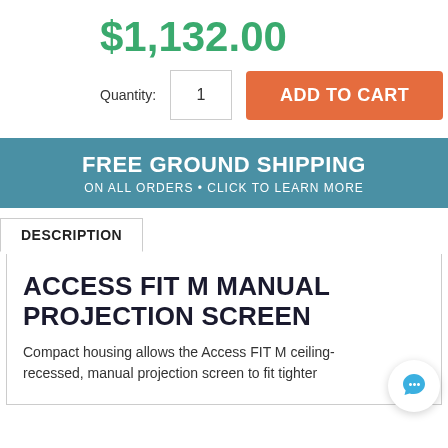$1,132.00
Quantity: 1
ADD TO CART
FREE GROUND SHIPPING
ON ALL ORDERS • CLICK TO LEARN MORE
DESCRIPTION
ACCESS FIT M MANUAL PROJECTION SCREEN
Compact housing allows the Access FIT M ceiling-recessed, manual projection screen to fit tighter